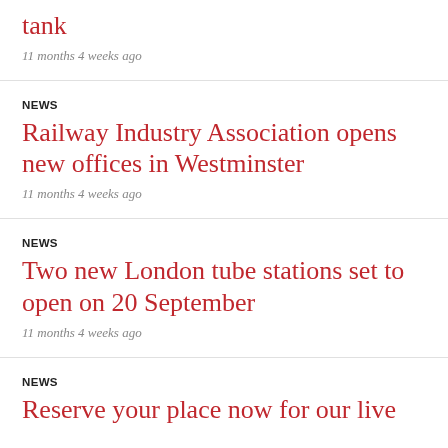tank
11 months 4 weeks ago
NEWS
Railway Industry Association opens new offices in Westminster
11 months 4 weeks ago
NEWS
Two new London tube stations set to open on 20 September
11 months 4 weeks ago
NEWS
Reserve your place now for our live